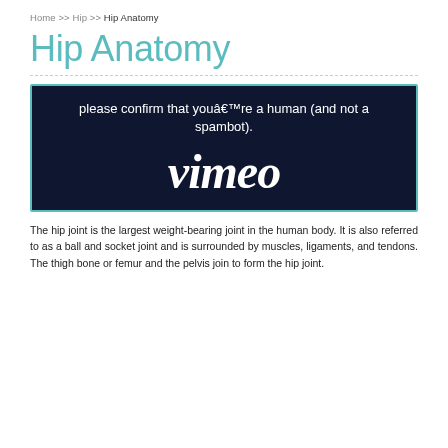Home >> Hip >> Hip Anatomy
Hip Anatomy
[Figure (screenshot): Vimeo embedded video player showing a CAPTCHA verification prompt: 'please confirm that youâre a human (and not a spambot).' with the Vimeo logo displayed on a dark navy background, bordered in teal.]
The hip joint is the largest weight-bearing joint in the human body. It is also referred to as a ball and socket joint and is surrounded by muscles, ligaments, and tendons. The thigh bone or femur and the pelvis join to form the hip joint.